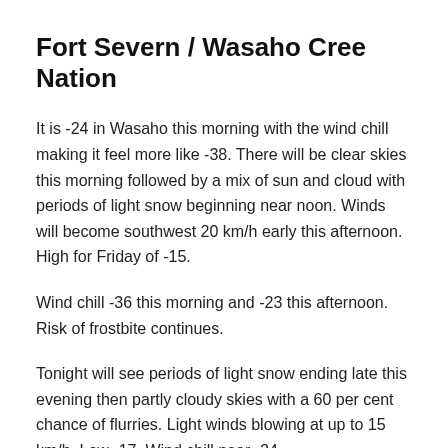Fort Severn / Wasaho Cree Nation
It is -24 in Wasaho this morning with the wind chill making it feel more like -38. There will be clear skies this morning followed by a mix of sun and cloud with periods of light snow beginning near noon. Winds will become southwest 20 km/h early this afternoon. High for Friday of -15.
Wind chill -36 this morning and -23 this afternoon. Risk of frostbite continues.
Tonight will see periods of light snow ending late this evening then partly cloudy skies with a 60 per cent chance of flurries. Light winds blowing at up to 15 km/h. Low -17. Wind chill near -24.